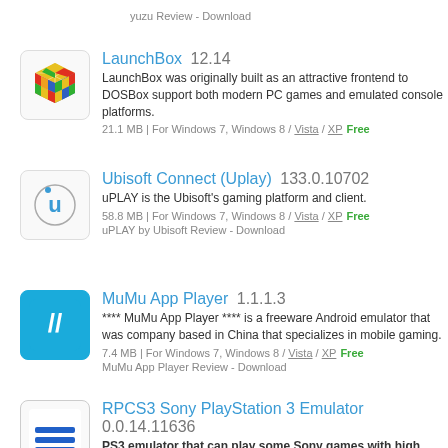yuzu Review - Download
LaunchBox 12.14 — LaunchBox was originally built as an attractive frontend to DOSBox support both modern PC games and emulated console platforms. 21.1 MB | For Windows 7, Windows 8 / Vista / XP  Free
Ubisoft Connect (Uplay) 133.0.10702 — uPLAY is the Ubisoft's gaming platform and client. 58.8 MB | For Windows 7, Windows 8 / Vista / XP  Free  uPLAY by Ubisoft Review - Download
MuMu App Player 1.1.1.3 — **** MuMu App Player **** is a freeware Android emulator that was company based in China that specializes in mobile gaming. 7.4 MB | For Windows 7, Windows 8 / Vista / XP  Free  MuMu App Player Review - Download
RPCS3 Sony PlayStation 3 Emulator 0.0.14.11636 — PS3 emulator that can play some Sony games with high resolu